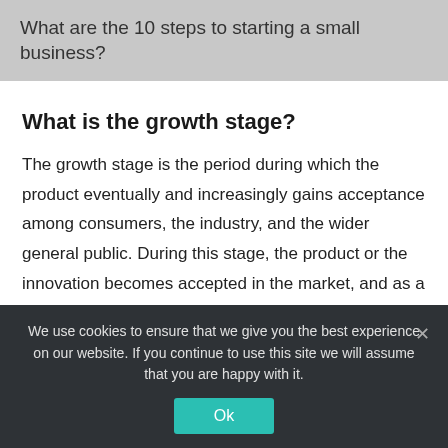What are the 10 steps to starting a small business?
What is the growth stage?
The growth stage is the period during which the product eventually and increasingly gains acceptance among consumers, the industry, and the wider general public. During this stage, the product or the innovation becomes accepted in the market, and as a result sales and revenues start to increase.
We use cookies to ensure that we give you the best experience on our website. If you continue to use this site we will assume that you are happy with it.